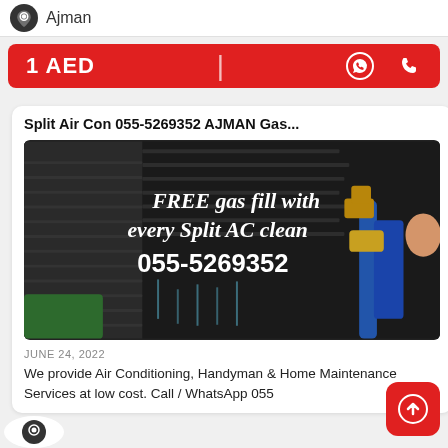Ajman
1 AED
Split Air Con 055-5269352 AJMAN Gas...
[Figure (photo): Photo of an air conditioning unit being serviced with text overlay reading: FREE gas fill with every Split AC clean 055-5269352]
JUNE 24, 2022
We provide Air Conditioning, Handyman & Home Maintenance Services at low cost. Call / WhatsApp 055